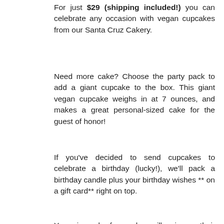For just $29 (shipping included!) you can celebrate any occasion with vegan cupcakes from our Santa Cruz Cakery.
Need more cake? Choose the party pack to add a giant cupcake to the box. This giant vegan cupcake weighs in at 7 ounces, and makes a great personal-sized cake for the guest of honor!
If you've decided to send cupcakes to celebrate a birthday (lucky!), we'll pack a birthday candle plus your birthday wishes ** on a gift card** right on top.
Your six pack of cupcakes will arrive on their doorstep via 2-day delivery nationwide (most locations, some places require 3 days). Guaranteed to be as beautiful and fresh as when it left our bakery.
Available Flavors